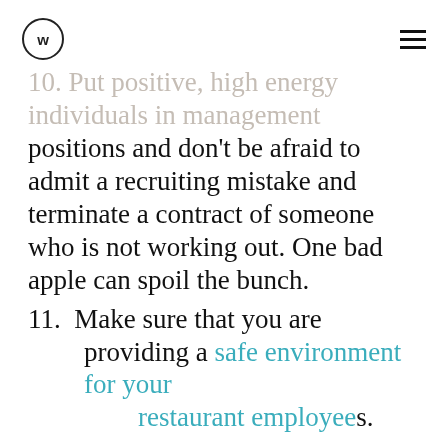W logo and hamburger menu
10. Put positive, high energy individuals in management positions and don't be afraid to admit a recruiting mistake and terminate a contract of someone who is not working out. One bad apple can spoil the bunch.
11. Make sure that you are providing a safe environment for your restaurant employees.
Remember it's a perfect example of the Win Win philosophy – if you treat your restaurant employees well they will treat you and your customers well.